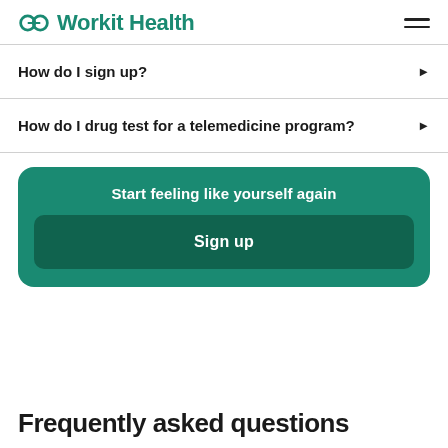Workit Health
How do I sign up?
How do I drug test for a telemedicine program?
Start feeling like yourself again
Sign up
Frequently asked questions